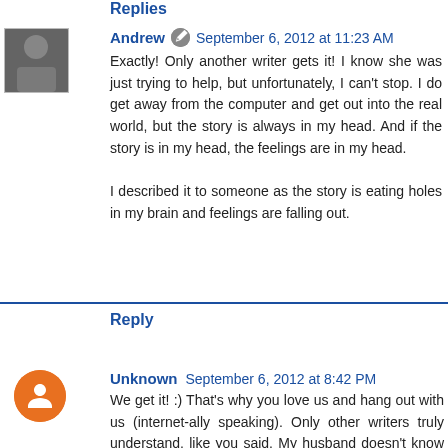Replies
Andrew   September 6, 2012 at 11:23 AM
Exactly! Only another writer gets it! I know she was just trying to help, but unfortunately, I can't stop. I do get away from the computer and get out into the real world, but the story is always in my head. And if the story is in my head, the feelings are in my head.

I described it to someone as the story is eating holes in my brain and feelings are falling out.
Reply
Unknown   September 6, 2012 at 8:42 PM
We get it! :) That's why you love us and hang out with us (internet-ally speaking). Only other writers truly understand, like you said. My husband doesn't know what I'm talking about when I complain about how screwy I feel when I'm in a project. But that's why you have us. Vent away, fellow